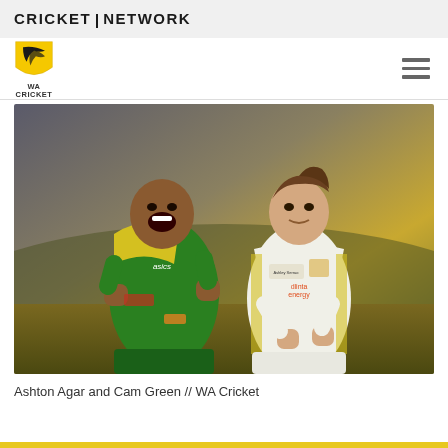CRICKET | NETWORK
[Figure (logo): WA Cricket shield logo in yellow and black with text WA CRICKET below]
[Figure (photo): Ashton Agar in green and yellow Australian ODI kit celebrating with fist pumps and open mouth, alongside Cam Green in white Australian Test whites, both celebrating on a cricket field]
Ashton Agar and Cam Green // WA Cricket